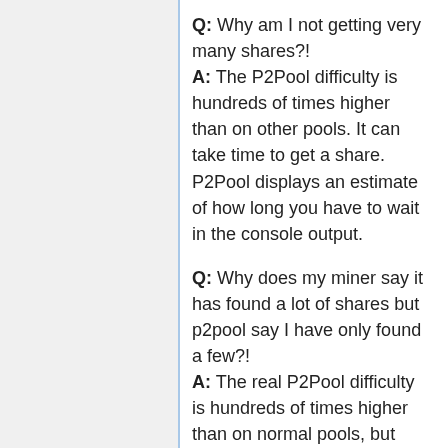Q: Why am I not getting very many shares?! A: The P2Pool difficulty is hundreds of times higher than on other pools. It can take time to get a share. P2Pool displays an estimate of how long you have to wait in the console output.
Q: Why does my miner say it has found a lot of shares but p2pool say I have only found a few?! A: The real P2Pool difficulty is hundreds of times higher than on normal pools, but p2pool essentially lies to your miner and tells it to work on relatively easy shares so that it submits shares every few seconds instead of every few hours. P2Pool then ignores any submitted shares that don't match the real share difficulty. By doing this, P2Pool can more